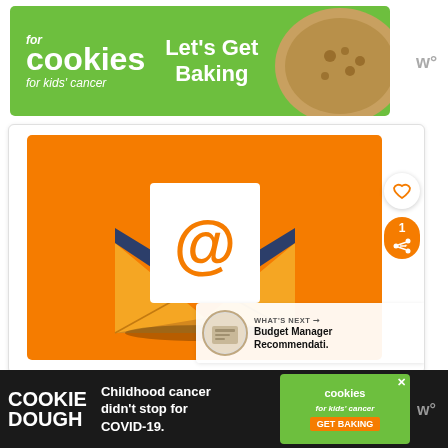[Figure (screenshot): Advertisement banner for 'Cookies for Kids Cancer' with green background, text 'cookies for kids cancer' and 'Let's Get Baking', with cookie image on right]
[Figure (illustration): Orange background card with email icon: yellow envelope open with white letter inside showing an orange @ symbol, dark blue envelope flap]
[Figure (screenshot): 'WHAT'S NEXT' bar showing a thumbnail and text 'Budget Manager Recommendati.']
[Figure (screenshot): Bottom advertisement banner with dark background, 'COOKIE DOUGH' text, 'Childhood cancer didn't stop for COVID-19.' text, and 'cookies for kids cancer GET BAKING' green box]